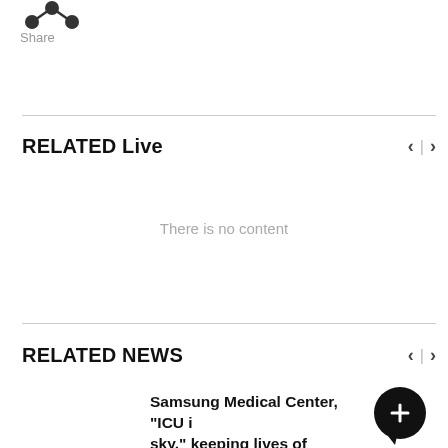[Figure (illustration): Share icon (two connected dots/nodes)]
Share
RELATED Live
There is no content
RELATED NEWS
Samsung Medical Center, "ICU i sky," keeping lives of patients
[Figure (illustration): Contact Us button — dark circle with plus sign and speech bubble tail, labeled CONTACT US]